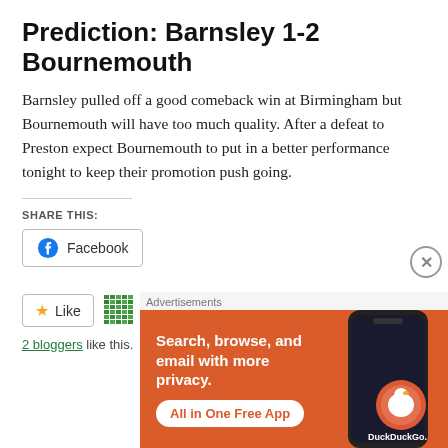Prediction: Barnsley 1-2 Bournemouth
Barnsley pulled off a good comeback win at Birmingham but Bournemouth will have too much quality. After a defeat to Preston expect Bournemouth to put in a better performance tonight to keep their promotion push going.
SHARE THIS:
Facebook
Like
2 bloggers like this.
[Figure (infographic): DuckDuckGo advertisement banner: orange background with text 'Search, browse, and email with more privacy. All in One Free App' and a phone image with DuckDuckGo logo]